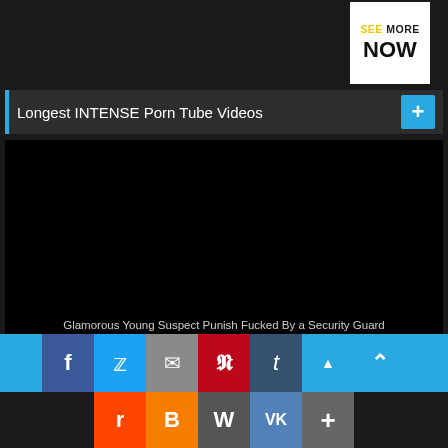[Figure (screenshot): SEE MORE NOW button in top right corner, white background with yellow and black text]
Longest INTENSE Porn Tube Videos
[Figure (screenshot): Black video player with view count 5 and duration 21:41:40]
Glamorous Young Suspect Punish Fucked By a Security Guard
[Figure (infographic): Social share buttons row 1: Facebook, Twitter, Email, Pinterest, Tumblr, Up arrow; row 2: Reddit, Blogger, WordPress, VK, More]